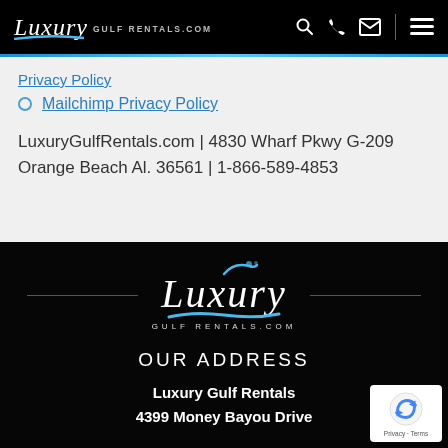Luxury Gulf Rentals - navigation bar with logo, search, phone, email, and menu icons
Mailchimp Privacy Policy
LuxuryGulfRentals.com | 4830 Wharf Pkwy G-209 Orange Beach Al. 36561 | 1-866-589-4853
[Figure (logo): Luxury Gulf Rentals cursive logo with blue wave accent and GULF RENTALS.COM subtitle, on dark background with horizontal divider lines]
OUR ADDRESS
Luxury Gulf Rentals
4399 Money Bayou Drive